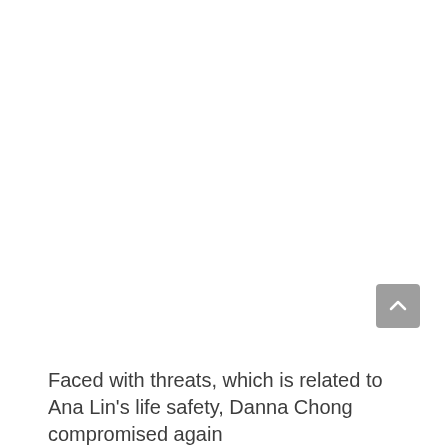[Figure (other): Scroll-to-top button (chevron up icon on grey rounded rectangle background) positioned near bottom-right of page]
Faced with threats, which is related to Ana Lin's life safety, Danna Chong compromised again